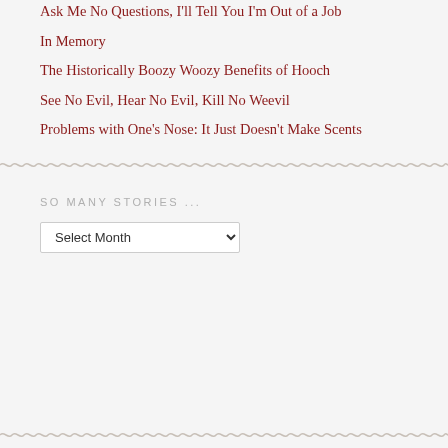Ask Me No Questions, I'll Tell You I'm Out of a Job
In Memory
The Historically Boozy Woozy Benefits of Hooch
See No Evil, Hear No Evil, Kill No Weevil
Problems with One's Nose: It Just Doesn't Make Scents
SO MANY STORIES ...
Select Month